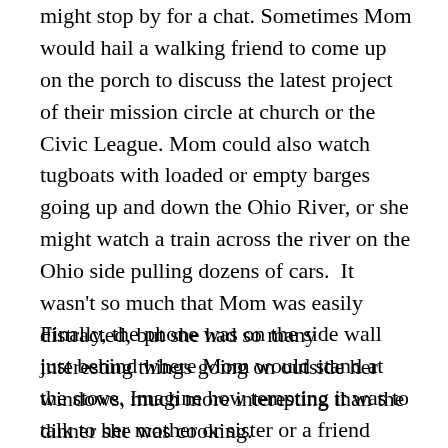might stop by for a chat. Sometimes Mom would hail a walking friend to come up on the porch to discuss the latest project of their mission circle at church or the Civic League. Mom could also watch tugboats with loaded or empty barges going up and down the Ohio River, or she might watch a train across the river on the Ohio side pulling dozens of cars. It wasn't so much that Mom was easily distracted, but she had so many interesting things going on outside her windows, much more interesting than the dinner she was cooking.
Finally, the phone was on the side wall just behind where Mom would stand at the stove. Imagine how tempting it was to talk to her mother or sister or a friend while she was